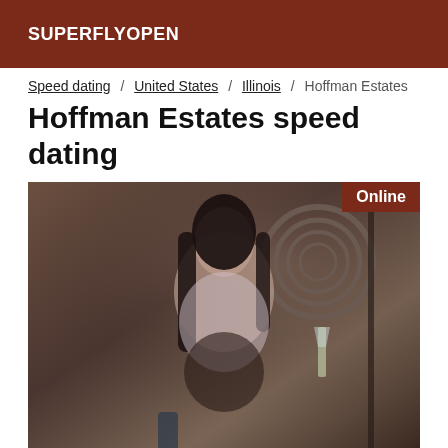SUPERFLYOPEN
Speed dating / United States / Illinois / Hoffman Estates
Hoffman Estates speed dating
[Figure (photo): A woman with long dark hair wearing a white bra top and dark lace outfit, holding a champagne glass, seated in a stylized room. An 'Online' badge appears in the top-right corner of the image.]